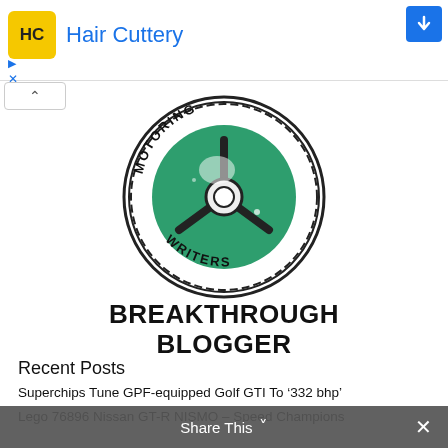[Figure (screenshot): Hair Cuttery advertisement banner with yellow logo, blue brand name text, and blue Facebook icon in top right corner]
[Figure (logo): Motoring Writers circular badge/logo with green steering wheel design and text reading MOTORING WRITERS around the border]
BREAKTHROUGH BLOGGER
Recent Posts
Superchips Tune GPF-equipped Golf GTI To '332 bhp'
Lego 76896 Nissan GT-R NISMO – Speed Champions
Video,Gallery, Stats: 2020 MINI John Cooper Works GP
Mountune Boosts Golf Mk7.5 GTI
Share This ∨  ✕